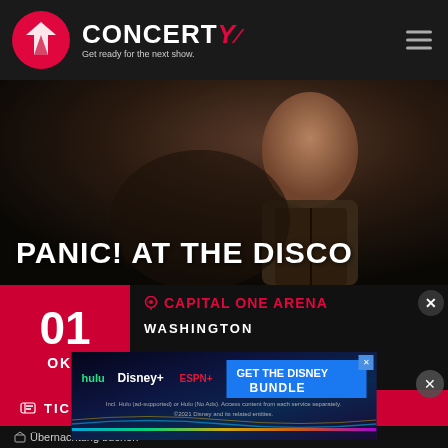CONCERTY – Get ready for the next show
[Figure (screenshot): Hero image of Panic! At The Disco performer in dark leather jacket]
PANIC! AT THE DISCO
01 OKT
CAPITAL ONE ARENA
WASHINGTON
TICKETS
Übernachtung buchen
[Figure (screenshot): Disney Bundle advertisement banner with Hulu, Disney+, ESPN+ logos. GET THE DISNEY BUNDLE. Incl. Hulu (ad-supported) or Hulu (No Ads). Access content from each service separately. ©2021 Disney and its related entities.]